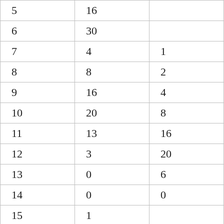| 5 | 16 |  |
| 6 | 30 |  |
| 7 | 4 | 1 |
| 8 | 8 | 2 |
| 9 | 16 | 4 |
| 10 | 20 | 8 |
| 11 | 13 | 16 |
| 12 | 3 | 20 |
| 13 | 0 | 6 |
| 14 | 0 | 0 |
| 15 | 1 |  |